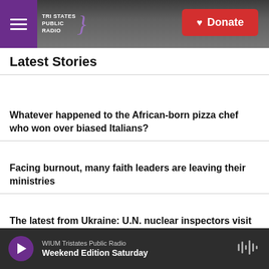Tri States Public Radio | Donate
Latest Stories
Whatever happened to the African-born pizza chef who won over biased Italians?
Facing burnout, many faith leaders are leaving their ministries
The latest from Ukraine: U.N. nuclear inspectors visit Russian-occupied region
WIUM Tristates Public Radio — Weekend Edition Saturday